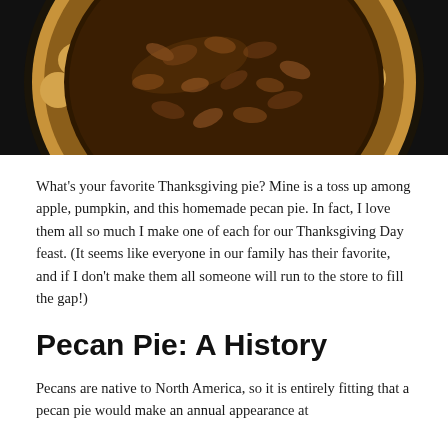[Figure (photo): A pecan pie in a dark pie dish, viewed from above, with a fluted golden-brown crust and a dark caramelized pecan filling, photographed on a dark background.]
What's your favorite Thanksgiving pie? Mine is a toss up among apple, pumpkin, and this homemade pecan pie. In fact, I love them all so much I make one of each for our Thanksgiving Day feast. (It seems like everyone in our family has their favorite, and if I don't make them all someone will run to the store to fill the gap!)
Pecan Pie: A History
Pecans are native to North America, so it is entirely fitting that a pecan pie would make an annual appearance at